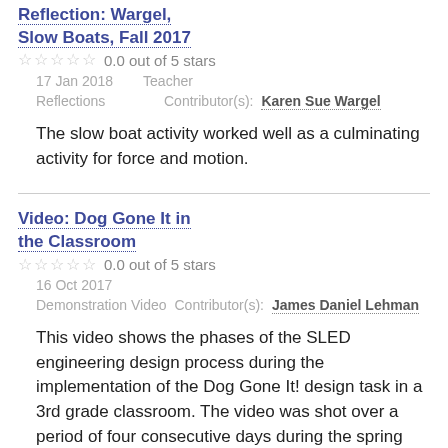Reflection: Wargel, Slow Boats, Fall 2017
0.0 out of 5 stars
17 Jan 2018   Teacher
Reflections   Contributor(s): Karen Sue Wargel
The slow boat activity worked well as a culminating activity for force and motion.
Video: Dog Gone It in the Classroom
0.0 out of 5 stars
16 Oct 2017
Demonstration Video   Contributor(s): James Daniel Lehman
This video shows the phases of the SLED engineering design process during the implementation of the Dog Gone It! design task in a 3rd grade classroom. The video was shot over a period of four consecutive days during the spring